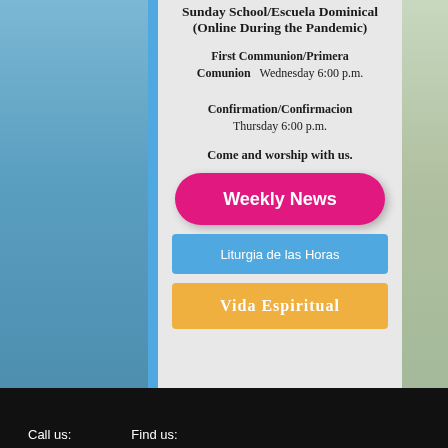Sunday School/Escuela Dominical (Online During the Pandemic)
First Communion/Primera Comunion   Wednesday 6:00 p.m.
Confirmation/Confirmacion  Thursday 6:00 p.m.
Come and worship with us.
[Figure (other): Pink rounded button labeled Weekly News]
[Figure (other): Blue button labeled Liturgia de las Horas]
[Figure (other): Gold/yellow button labeled Vida Espiritual]
Call us:    Find us: